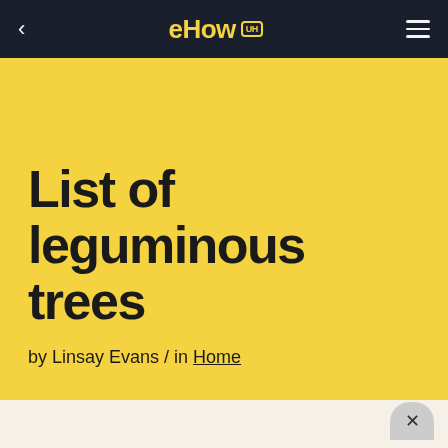eHow UH
List of leguminous trees
by Linsay Evans / in Home